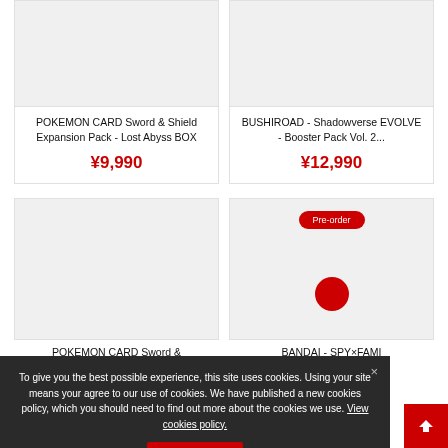[Figure (screenshot): Product listing page showing trading card game products with prices in yen]
POKEMON CARD Sword & Shield Expansion Pack - Lost Abyss BOX
¥9,990
BUSHIROAD - Shadowverse EVOLVE - Booster Pack Vol. 2...
¥12,990
Pre-order
POKEMON CARD Sword &
BANDAI - SPYxFAMI
To give you the best possible experience, this site uses cookies. Using your site means your agree to our use of cookies. We have published a new cookies policy, which you should need to find out more about the cookies we use. View cookies policy.
Accept